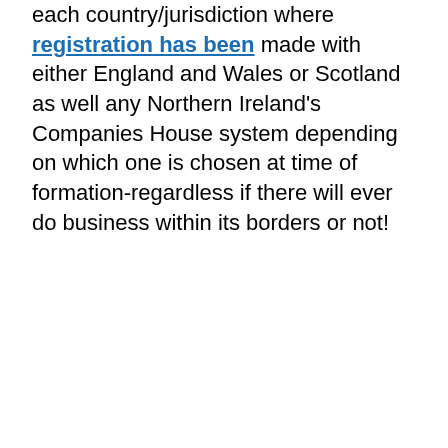each country/jurisdiction where registration has been made with either England and Wales or Scotland as well any Northern Ireland's Companies House system depending on which one is chosen at time of formation-regardless if there will ever do business within its borders or not!